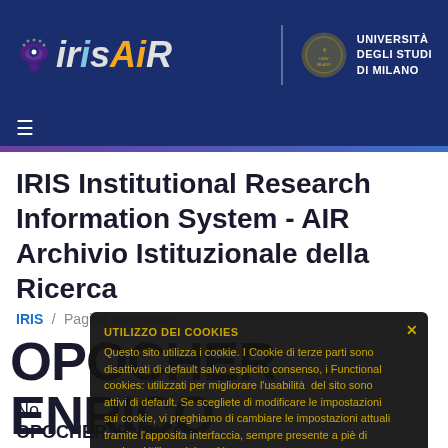[Figure (logo): IRIS AIR logo with eye icon and UNIVERSITÀ DEGLI STUDI DI MILANO seal]
IRIS Institutional Research Information System - AIR Archivio Istituzionale della Ricerca
IRIS / Pagina ricercatore
OPOCHER ENRICO (partially visible behind cookie overlay)
UTILIZZO DEI COOKIES
Questo sito utilizza i cookie. I Cookie di terze parti sono disattivati di default salvo esplicito consenso, i Functional cookies: utilizzati per migliorare l'usabilità del sito sono attivi di default. Se scegliete di modificare le impostazioni sui cookie, vi preghiamo di cambiare le impostazioni attuali tramite l'apposita interfaccia, sempre presente a piè di pagina: Utilizzo dei cookie.
No
OPOCHER, ENRICO